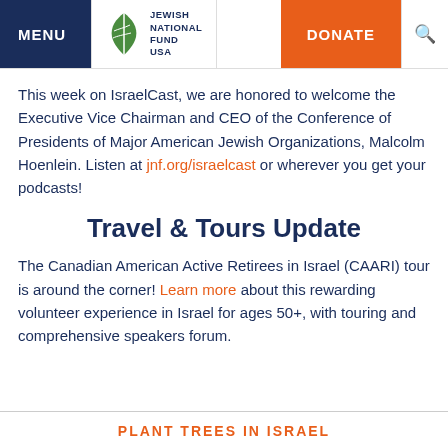MENU | Jewish National Fund USA | DONATE
This week on IsraelCast, we are honored to welcome the Executive Vice Chairman and CEO of the Conference of Presidents of Major American Jewish Organizations, Malcolm Hoenlein. Listen at jnf.org/israelcast or wherever you get your podcasts!
Travel & Tours Update
The Canadian American Active Retirees in Israel (CAARI) tour is around the corner! Learn more about this rewarding volunteer experience in Israel for ages 50+, with touring and comprehensive speakers forum.
PLANT TREES IN ISRAEL